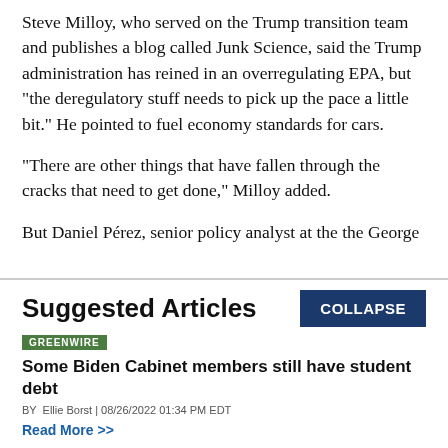Steve Milloy, who served on the Trump transition team and publishes a blog called Junk Science, said the Trump administration has reined in an overregulating EPA, but "the deregulatory stuff needs to pick up the pace a little bit." He pointed to fuel economy standards for cars.
"There are other things that have fallen through the cracks that need to get done," Milloy added.
But Daniel Pérez, senior policy analyst at the the George
Suggested Articles
GREENWIRE
Some Biden Cabinet members still have student debt
BY Ellie Borst | 08/26/2022 01:34 PM EDT
Read More >>
GREENWIRE
Packing a hurricane go bag? Don't forget your birth control.